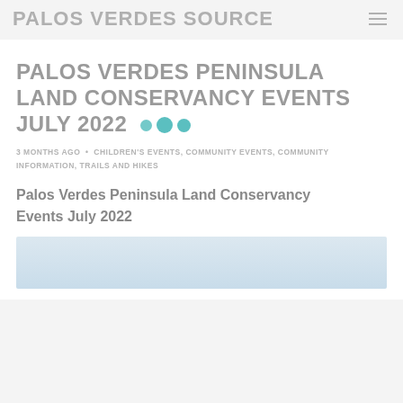PALOS VERDES SOURCE
PALOS VERDES PENINSULA LAND CONSERVANCY EVENTS JULY 2022
3 MONTHS AGO • CHILDREN'S EVENTS, COMMUNITY EVENTS, COMMUNITY INFORMATION, TRAILS AND HIKES
Palos Verdes Peninsula Land Conservancy Events July 2022
[Figure (photo): Light blue sky/outdoor scene image partially visible at bottom of page]